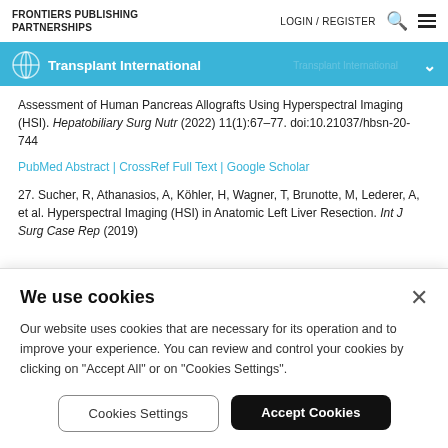FRONTIERS PUBLISHING PARTNERSHIPS | LOGIN / REGISTER
Transplant International
Assessment of Human Pancreas Allografts Using Hyperspectral Imaging (HSI). Hepatobiliary Surg Nutr (2022) 11(1):67–77. doi:10.21037/hbsn-20-744
PubMed Abstract | CrossRef Full Text | Google Scholar
27. Sucher, R, Athanasios, A, Köhler, H, Wagner, T, Brunotte, M, Lederer, A, et al. Hyperspectral Imaging (HSI) in Anatomic Left Liver Resection. Int J Surg Case Rep (2019)
We use cookies
Our website uses cookies that are necessary for its operation and to improve your experience. You can review and control your cookies by clicking on "Accept All" or on "Cookies Settings".
Cookies Settings
Accept Cookies